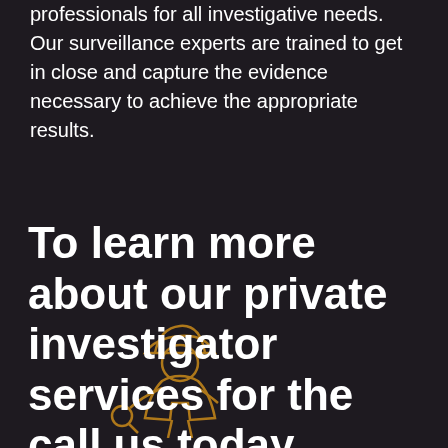professionals for all investigative needs. Our surveillance experts are trained to get in close and capture the evidence necessary to achieve the appropriate results.
To learn more about our private investigator services for the call us today.
[Figure (illustration): Outline illustration of a detective figure in orange/amber color, wearing a hat and coat, positioned behind the large title text]